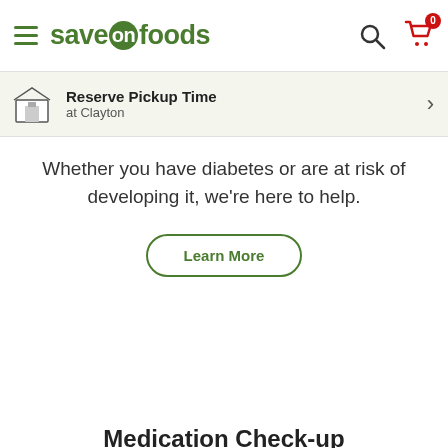saveonfoods — Reserve Pickup Time at Clayton
Whether you have diabetes or are at risk of developing it, we're here to help.
Learn More
Medication Check-up